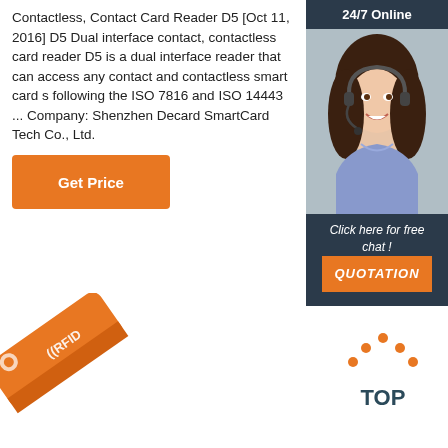Contactless, Contact Card Reader D5 [Oct 11, 2016] D5 Dual interface contact, contactless card reader D5 is a dual interface reader that can access any contact and contactless smart card s following the ISO 7816 and ISO 14443 ... Company: Shenzhen Decard SmartCard Tech Co., Ltd.
[Figure (other): Orange 'Get Price' button]
[Figure (other): Chat widget with '24/7 Online' header, photo of woman with headset smiling, 'Click here for free chat!' text, and orange QUOTATION button]
[Figure (other): Orange RFID wristband tag shown at an angle in bottom left]
[Figure (other): TOP icon with orange dots forming an arc above the word TOP in dark teal/navy color]